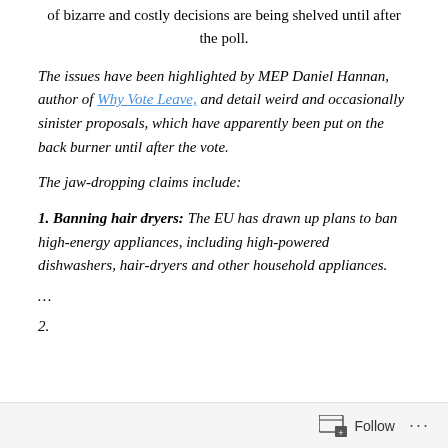the EU in just nine days, it has been claimed that a series of bizarre and costly decisions are being shelved until after the poll.
The issues have been highlighted by MEP Daniel Hannan, author of Why Vote Leave, and detail weird and occasionally sinister proposals, which have apparently been put on the back burner until after the vote.
The jaw-dropping claims include:
1. Banning hair dryers: The EU has drawn up plans to ban high-energy appliances, including high-powered dishwashers, hair-dryers and other household appliances.
...
2. (cut off)
Follow